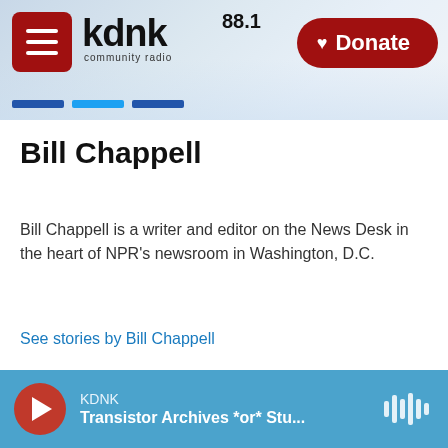KDNK 88.1 Community Radio — Donate
Bill Chappell
Bill Chappell is a writer and editor on the News Desk in the heart of NPR's newsroom in Washington, D.C.
See stories by Bill Chappell
KDNK — Transistor Archives *or* Stu...